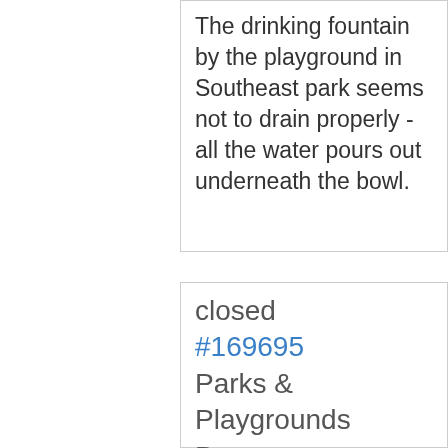The drinking fountain by the playground in Southeast park seems not to drain properly - all the water pours out underneath the bowl.
closed #169695 Parks & Playgrounds Bryan Park